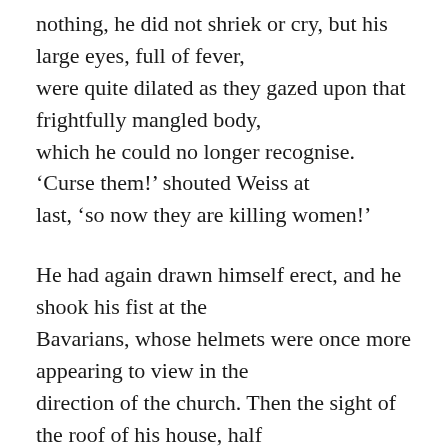nothing, he did not shriek or cry, but his large eyes, full of fever, were quite dilated as they gazed upon that frightfully mangled body, which he could no longer recognise. 'Curse them!' shouted Weiss at last, 'so now they are killing women!'
He had again drawn himself erect, and he shook his fist at the Bavarians, whose helmets were once more appearing to view in the direction of the church. Then the sight of the roof of his house, half broken in by the fallen chimney, put the finishing touch to his mad exasperation. 'You dirty blackguards!' he shouted, 'you kill women and